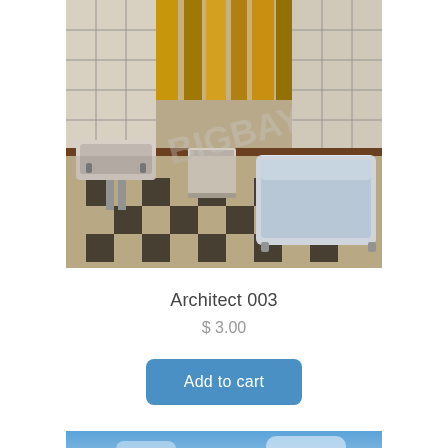[Figure (photo): HDR photograph of an abandoned bathroom with a checkered tile floor, an old clawfoot bathtub on the right, a vintage sink on the left, a bucket in the center, and golden curtains visible through a window in the background. White subway tiles line the walls.]
Architect 003
$ 3.00
Add to cart
[Figure (photo): Partial view of another product photo showing a blue sky.]